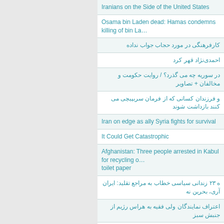Iranians on the Side of the United States
Osama bin Laden dead: Hamas condemns killing of bin La...
کارفرهنگی در مورد حجاب جواب نداده
احمدی‌نژاد قهر کرد
در سوریه چه می گذرد؟ / روایت حکومت و مخالفان + تصاویر
و فرزندان کسانی که از فرمان سربپیچی می کنند بازداشت شوند
Iran on edge as ally Syria fights for survival
It Could Get Catastrophic
Afghanistan: Three people arrested in Kabul for recycling o... toilet paper
ه ۲۳ زندانی سیاسی خطاب به مراجع تقلید: ایران آری، بحرین نه
اعتراف نمایندگان ولی فقیه به هراس رژیم از جنبش سبز
Ahmadinejad grooms chief-of-staff to take over as Iran's pr...
U.S. Flying Armed Drones Over Libya: Gates
Shirin Ebadi: Sanctions Okay, Nuke Program Is 'Propagan...
امام جمعه قم : نباید نقل قولهای لحظه تولد خامنه ای را میگفتم
در مراسم سخنرانی صفار هرندی در دانشگاه آزاد تهران شمال
Hezbollah voices support for Syria's Assad